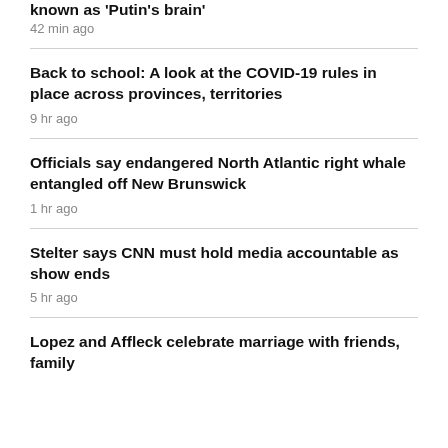known as 'Putin's brain'
42 min ago
Back to school: A look at the COVID-19 rules in place across provinces, territories
9 hr ago
Officials say endangered North Atlantic right whale entangled off New Brunswick
1 hr ago
Stelter says CNN must hold media accountable as show ends
5 hr ago
Lopez and Affleck celebrate marriage with friends, family